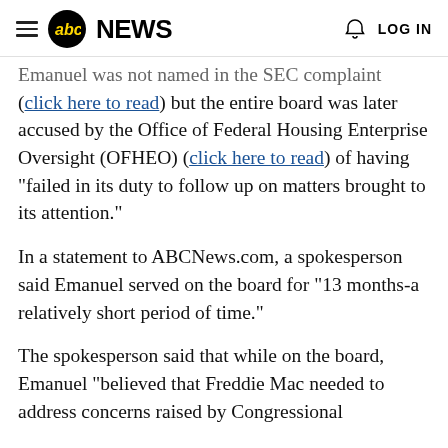ABC News — LOG IN
Emanuel was not named in the SEC complaint (click here to read) but the entire board was later accused by the Office of Federal Housing Enterprise Oversight (OFHEO) (click here to read) of having "failed in its duty to follow up on matters brought to its attention."
In a statement to ABCNews.com, a spokesperson said Emanuel served on the board for "13 months-a relatively short period of time."
The spokesperson said that while on the board, Emanuel "believed that Freddie Mac needed to address concerns raised by Congressional